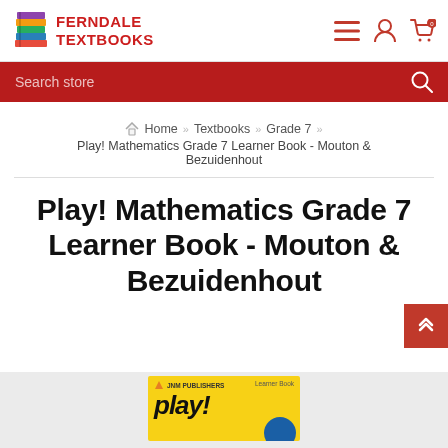[Figure (logo): Ferndale Textbooks logo with stacked colorful books and red text]
Ferndale Textbooks - Search store
Home » Textbooks » Grade 7 » Play! Mathematics Grade 7 Learner Book - Mouton & Bezuidenhout
Play! Mathematics Grade 7 Learner Book - Mouton & Bezuidenhout
[Figure (photo): Play! Mathematics Grade 7 Learner Book cover - JNM Publishers, yellow background with 'play!' text]